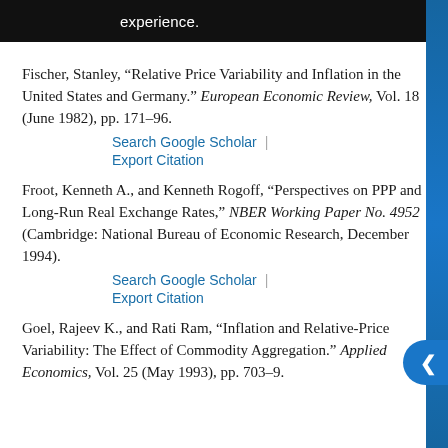experience.
Fischer, Stanley, “Relative Price Variability and Inflation in the United States and Germany.” European Economic Review, Vol. 18 (June 1982), pp. 171–96.
Search Google Scholar | Export Citation
Froot, Kenneth A., and Kenneth Rogoff, “Perspectives on PPP and Long-Run Real Exchange Rates,” NBER Working Paper No. 4952 (Cambridge: National Bureau of Economic Research, December 1994).
Search Google Scholar | Export Citation
Goel, Rajeev K., and Rati Ram, “Inflation and Relative-Price Variability: The Effect of Commodity Aggregation.” Applied Economics, Vol. 25 (May 1993), pp. 703–9.